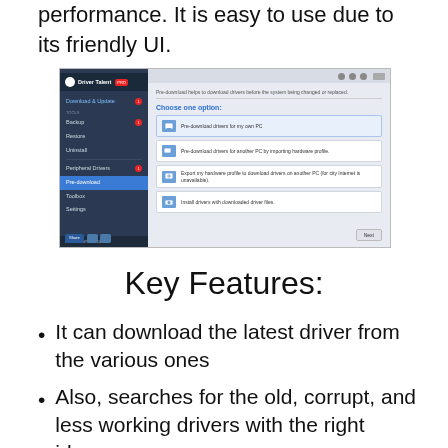performance. It is easy to use due to its friendly UI.
[Figure (screenshot): Screenshot of Driver Talent software showing the Pre-download feature with options to pre-download drivers for own PC, another PC by importing hardware profile, export hardware profile, and install drivers with downloaded driver files.]
Key Features:
It can download the latest driver from the various ones
Also, searches for the old, corrupt, and less working drivers with the right ideas